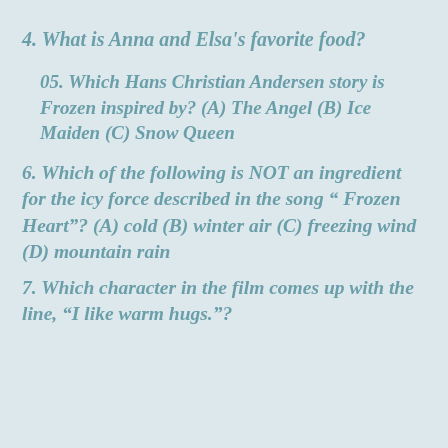4. What is Anna and Elsa's favorite food?
05. Which Hans Christian Andersen story is Frozen inspired by? (A) The Angel (B) Ice Maiden (C) Snow Queen
6. Which of the following is NOT an ingredient for the icy force described in the song " Frozen Heart"? (A) cold (B) winter air (C) freezing wind (D) mountain rain
7. Which character in the film comes up with the line, “I like warm hugs.”?